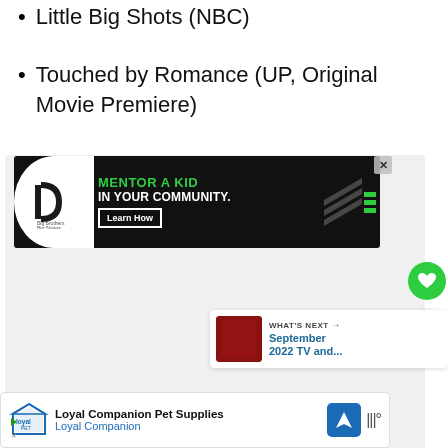Little Big Shots (NBC)
Touched by Romance (UP, Original Movie Premiere)
[Figure (infographic): Big Brothers Big Sisters advertisement banner: 'MENTOR A KID IN YOUR COMMUNITY.' with Learn How button on black background]
[Figure (infographic): Loyal Companion Pet Supplies advertisement banner at bottom of page]